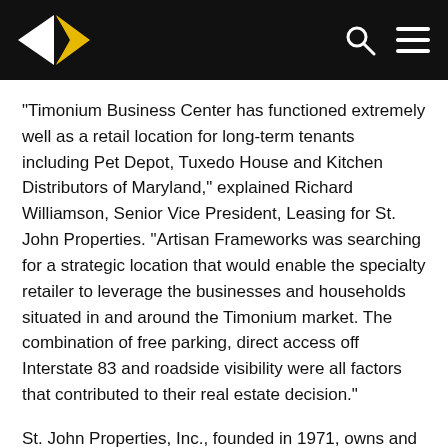St. John Properties logo, search icon, menu icon
“Timonium Business Center has functioned extremely well as a retail location for long-term tenants including Pet Depot, Tuxedo House and Kitchen Distributors of Maryland,” explained Richard Williamson, Senior Vice President, Leasing for St. John Properties. “Artisan Frameworks was searching for a strategic location that would enable the specialty retailer to leverage the businesses and households situated in and around the Timonium market. The combination of free parking, direct access off Interstate 83 and roadside visibility were all factors that contributed to their real estate decision.”
St. John Properties, Inc., founded in 1971, owns and has developed more than 17 million square feet of R&D/flex, office, retail and warehouse space in Virginia, Maryland,